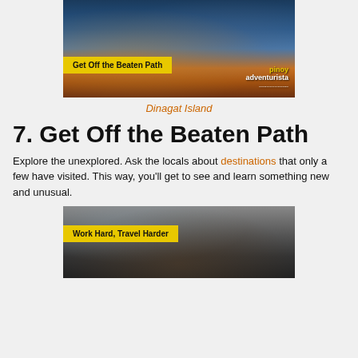[Figure (photo): Scenic coastal view with a person standing on rocky terrain at sunset, with text banner 'Get Off the Beaten Path' and Pinoy Adventurista logo]
Dinagat Island
7. Get Off the Beaten Path
Explore the unexplored. Ask the locals about destinations that only a few have visited. This way, you'll get to see and learn something new and unusual.
[Figure (photo): Person near a waterfall or stream in a rocky area, with text banner 'Work Hard, Travel Harder']